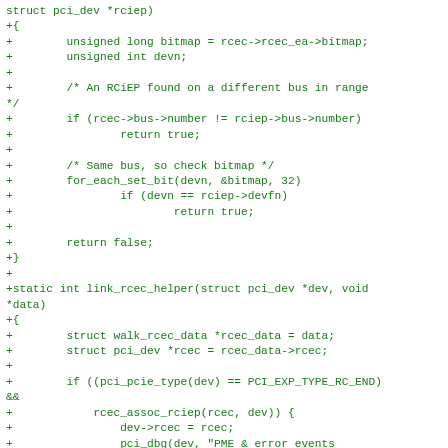struct pci_dev *rciep)
+{
+        unsigned long bitmap = rcec->rcec_ea->bitmap;
+        unsigned int devn;
+
+        /* An RCiEP found on a different bus in range */
+        if (rcec->bus->number != rciep->bus->number)
+                return true;
+
+        /* Same bus, so check bitmap */
+        for_each_set_bit(devn, &bitmap, 32)
+                if (devn == rciep->devfn)
+                        return true;
+
+        return false;
+}
+
+static int link_rcec_helper(struct pci_dev *dev, void *data)
+{
+        struct walk_rcec_data *rcec_data = data;
+        struct pci_dev *rcec = rcec_data->rcec;
+
+        if ((pci_pcie_type(dev) == PCI_EXP_TYPE_RC_END) &&
+            rcec_assoc_rciep(rcec, dev)) {
+                dev->rcec = rcec;
+                pci_dbg(dev, "PME & error events signaled via %s\n",
+                        pci_name(rcec));